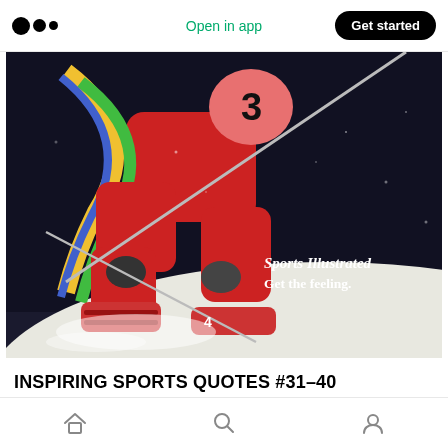Open in app  |  Get started
[Figure (photo): A skier in a red suit with number 3, racing downhill against a dark background with snow spray. Text overlay reads 'Sports Illustrated Get the feeling.']
INSPIRING SPORTS QUOTES #31–40
Home  Search  Profile